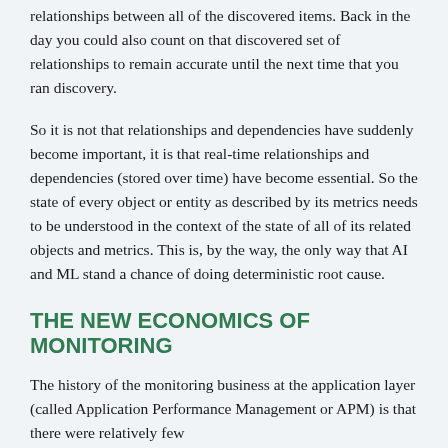relationships between all of the discovered items. Back in the day you could also count on that discovered set of relationships to remain accurate until the next time that you ran discovery.
So it is not that relationships and dependencies have suddenly become important, it is that real-time relationships and dependencies (stored over time) have become essential. So the state of every object or entity as described by its metrics needs to be understood in the context of the state of all of its related objects and metrics. This is, by the way, the only way that AI and ML stand a chance of doing deterministic root cause.
THE NEW ECONOMICS OF MONITORING
The history of the monitoring business at the application layer (called Application Performance Management or APM) is that there were relatively few